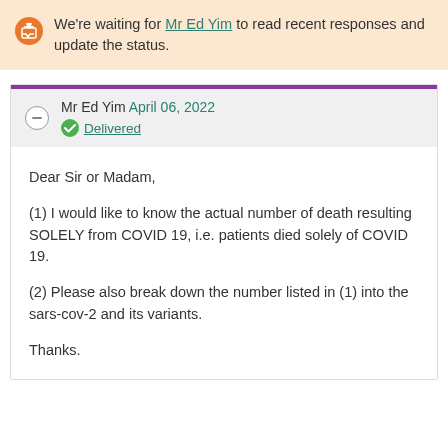We're waiting for Mr Ed Yim to read recent responses and update the status.
Mr Ed Yim April 06, 2022
Delivered
Dear Sir or Madam,

(1) I would like to know the actual number of death resulting SOLELY from COVID 19, i.e. patients died solely of COVID 19.

(2) Please also break down the number listed in (1) into the sars-cov-2 and its variants.

Thanks.